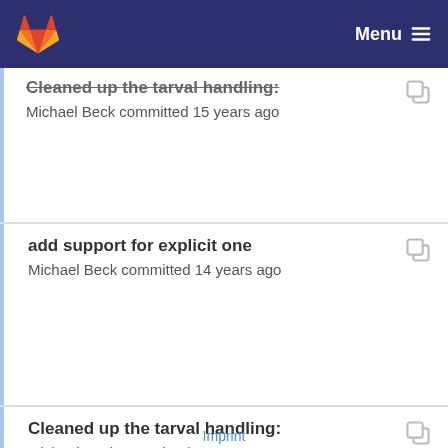GitLab — Menu
Cleaned up the tarval handling:
Michael Beck committed 15 years ago
add support for explicit one
Michael Beck committed 14 years ago
Cleaned up the tarval handling:
Michael Beck committed 15 years ago
Imprint